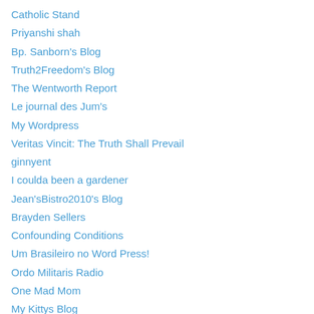Catholic Stand
Priyanshi shah
Bp. Sanborn's Blog
Truth2Freedom's Blog
The Wentworth Report
Le journal des Jum's
My Wordpress
Veritas Vincit: The Truth Shall Prevail
ginnyent
I coulda been a gardener
Jean'sBistro2010's Blog
Brayden Sellers
Confounding Conditions
Um Brasileiro no Word Press!
Ordo Militaris Radio
One Mad Mom
My Kittys Blog
ABYSSUS ABYSSUM INVOCAT / DEEP CALLS TO DEEP
Rosary to the Interior: For the Purification of the Church